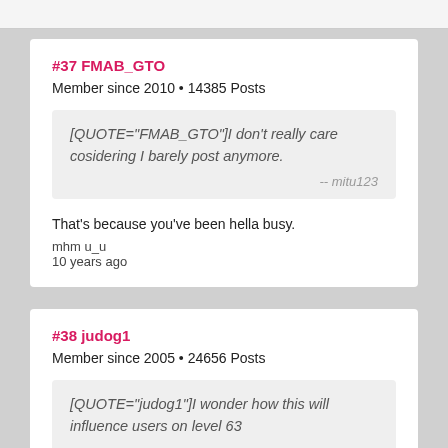#37 FMAB_GTO
Member since 2010 • 14385 Posts
[QUOTE="FMAB_GTO"]I don't really care cosidering I barely post anymore.
-- mitu123
That's because you've been hella busy.
mhm u_u
10 years ago
#38 judog1
Member since 2005 • 24656 Posts
[QUOTE="judog1"]I wonder how this will influence users on level 63